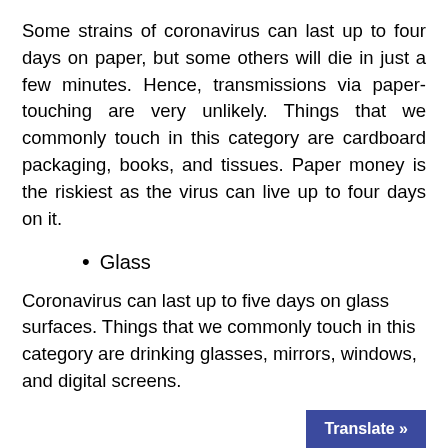Some strains of coronavirus can last up to four days on paper, but some others will die in just a few minutes. Hence, transmissions via paper-touching are very unlikely. Things that we commonly touch in this category are cardboard packaging, books, and tissues. Paper money is the riskiest as the virus can live up to four days on it.
Glass
Coronavirus can last up to five days on glass surfaces. Things that we commonly touch in this category are drinking glasses, mirrors, windows, and digital screens.